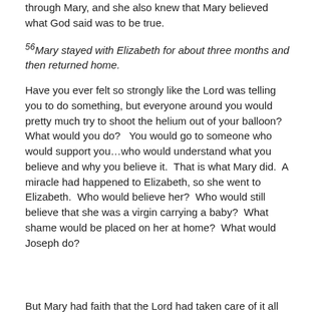through Mary, and she also knew that Mary believed what God said was to be true.
56Mary stayed with Elizabeth for about three months and then returned home.
Have you ever felt so strongly like the Lord was telling you to do something, but everyone around you would pretty much try to shoot the helium out of your balloon?  What would you do?   You would go to someone who would support you…who would understand what you believe and why you believe it.  That is what Mary did.  A miracle had happened to Elizabeth, so she went to Elizabeth.  Who would believe her?  Who would still believe that she was a virgin carrying a baby?  What shame would be placed on her at home?  What would Joseph do?
But Mary had faith that the Lord had taken care of it all